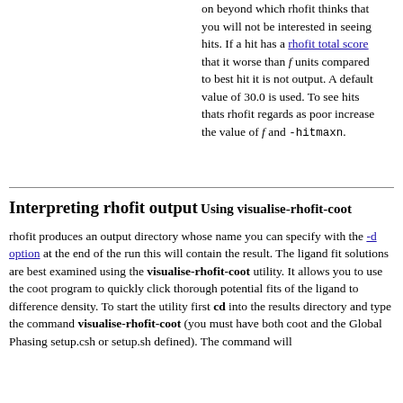on beyond which rhofit thinks that you will not be interested in seeing hits. If a hit has a rhofit total score that it worse than f units compared to best hit it is not output. A default value of 30.0 is used. To see hits thats rhofit regards as poor increase the value of f and -hitmaxn.
Interpreting rhofit output
Using visualise-rhofit-coot
rhofit produces an output directory whose name you can specify with the -d option at the end of the run this will contain the result. The ligand fit solutions are best examined using the visualise-rhofit-coot utility. It allows you to use the coot program to quickly click thorough potential fits of the ligand to difference density. To start the utility first cd into the results directory and type the command visualise-rhofit-coot (you must have both coot and the Global Phasing setup.csh or setup.sh defined). The command will